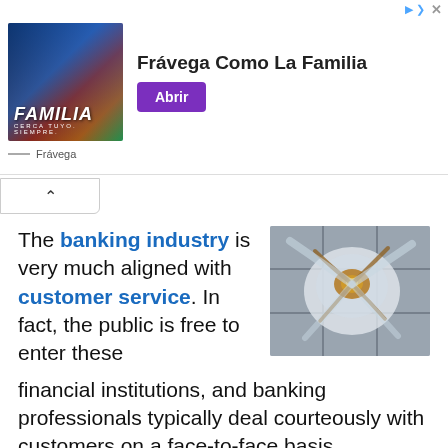[Figure (screenshot): Advertisement banner for Frávega showing 'Frávega Como La Familia' with a group photo and purple 'Abrir' button]
[Figure (other): Collapse/accordion button with upward chevron arrow]
The banking industry is very much aligned with customer service. In fact, the public is free to enter these financial institutions, and banking professionals typically deal courteously with customers on a face-to-face basis. Unfortunately, the very nature of a financial
[Figure (photo): Close-up photo of a jellyfish or marine organism on a tiled gray background, with golden/amber center and translucent body]